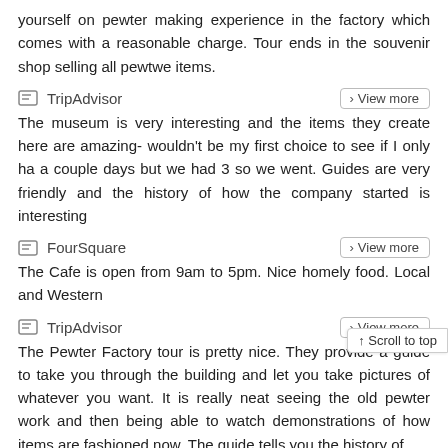yourself on pewter making experience in the factory which comes with a reasonable charge. Tour ends in the souvenir shop selling all pewtwe items.
TripAdvisor
View more
The museum is very interesting and the items they create here are amazing- wouldn't be my first choice to see if I only ha a couple days but we had 3 so we went. Guides are very friendly and the history of how the company started is interesting
FourSquare
View more
The Cafe is open from 9am to 5pm. Nice homely food. Local and Western
TripAdvisor
View more
The Pewter Factory tour is pretty nice. They provide a guide to take you through the building and let you take pictures of whatever you want. It is really neat seeing the old pewter work and then being able to watch demonstrations of how items are fashioned now. The guide tells you the history of and interesting facts about the manufacturing process. They give you a 'welcome drink' (100 Plus soda) so you can see how